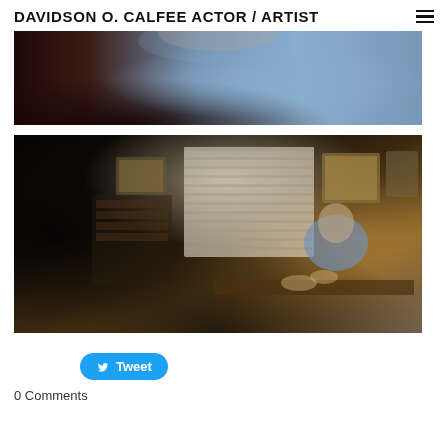DAVIDSON O. CALFEE ACTOR / ARTIST
[Figure (photo): Close-up cropped photo of a man in a blue shirt, upper torso and chin visible, dark reddish background on left, blue-gray on right]
[Figure (photo): Man in blue shirt sitting at a desk in a dimly lit room with bookshelves, a window with blinds, and framed pictures on the wall, gesturing with his hands]
Tweet
0 Comments